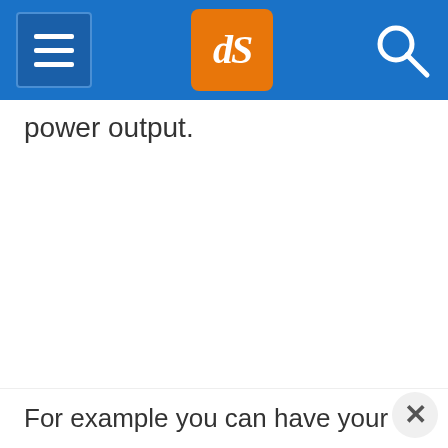dPS navigation header with hamburger menu, dPS logo, and search icon
power output.
For example you can have your flash in TTL...